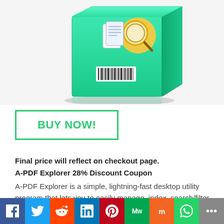[Figure (illustration): Product box image of A-PDF Explorer software with teal/mint color box and magnifying glass icon with documents]
BUY NOW!
Final price will reflect on checkout page.
A-PDF Explorer 28% Discount Coupon
A-PDF Explorer is a simple, lightning-fast desktop utility program that lets you to easily manage, index, search/filter (using several metadata fields like:
[Figure (infographic): Social media sharing bar with icons for Facebook, Twitter, Reddit, LinkedIn, Pinterest, MeWe, Mix, WhatsApp, and More]